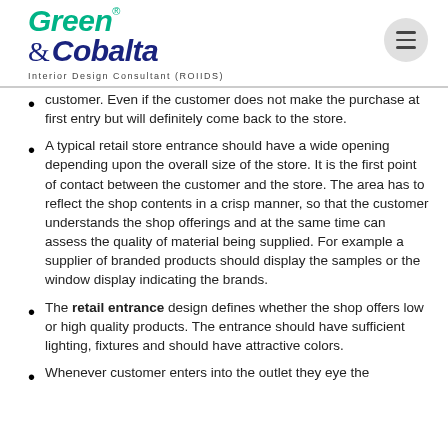Green & Cobalta — Interior Design Consultant (ROIIDS)
customer. Even if the customer does not make the purchase at first entry but will definitely come back to the store.
A typical retail store entrance should have a wide opening depending upon the overall size of the store. It is the first point of contact between the customer and the store. The area has to reflect the shop contents in a crisp manner, so that the customer understands the shop offerings and at the same time can assess the quality of material being supplied. For example a supplier of branded products should display the samples or the window display indicating the brands.
The retail entrance design defines whether the shop offers low or high quality products. The entrance should have sufficient lighting, fixtures and should have attractive colors.
Whenever customer enters into the outlet they eye the ...